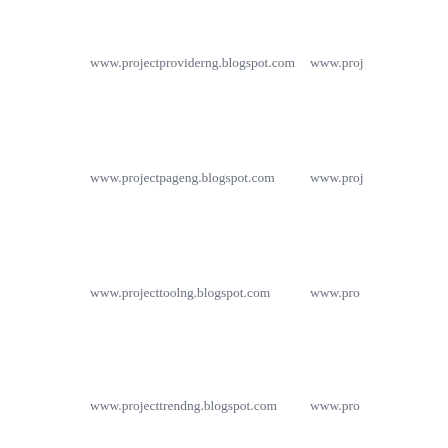www.projectproviderng.blogspot.com
www.proj
www.projectpageng.blogspot.com
www.proj
www.projecttoolng.blogspot.com
www.pro
www.projecttrendng.blogspot.com
www.pro
www.projectshopng.blogspot.com
www.pr
www.projectsampleng.blogspot.com
www.pro
www.projectclickng.blogspot.com
www.pr
www.projectspotng.blogspot.com
www.proj
www.projectprimeng.blogspot.com
www.pro